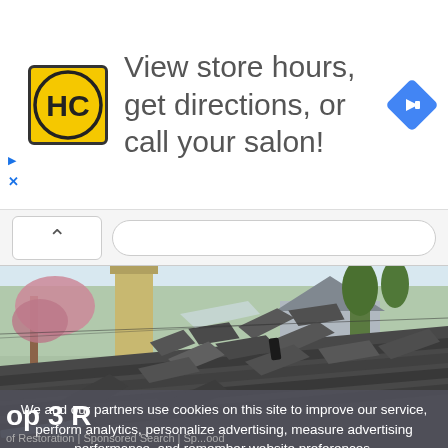[Figure (other): Advertisement banner: HC logo (yellow circle with HC letters), text 'View store hours, get directions, or call your salon!', blue diamond direction arrow icon on right]
[Figure (photo): Photograph of a heavily damaged residential roof with shingles blown off and curled up, a brick chimney visible on the left, trees in background]
We and our partners use cookies on this site to improve our service, perform analytics, personalize advertising, measure advertising performance, and remember website preferences.
Ok
op 3 R
of Restoration | Sponsored Search | Sp...ood